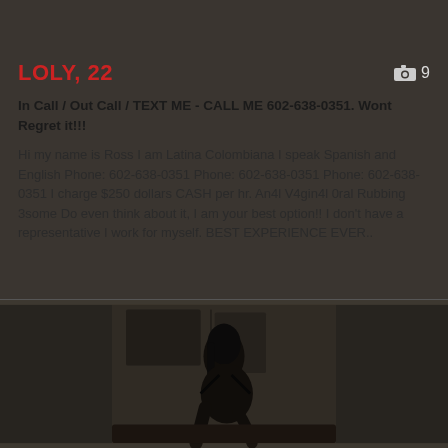LOLY, 22
In Call / Out Call / TEXT ME - CALL ME 602-638-0351. Wont Regret it!!!
Hi my name is Ross I am Latina Colombiana I speak Spanish and English Phone: 602-638-0351 Phone: 602-638-0351 Phone: 602-638-0351 I charge $250 dollars CASH per hr. An4l V4gin4l 0ral Rubbing 3some Do even think about it, I am your best option!! I don't have a representative I work for myself. BEST EXPERIENCE EVER..
[Figure (photo): Photo of a woman in dark clothing posing on a dark couch with a blurred background]